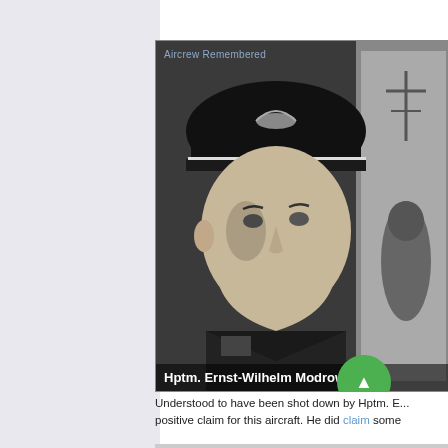[Figure (photo): Black and white photograph of Hptm. Ernst-Wilhelm Modrow in German military uniform and officer's cap with eagle insignia. Watermark 'Aircrew Remembered' visible at top left. A second partial photo of an aircraft is visible on the right edge.]
Understood to have been shot down by Hptm. E... positive claim for this aircraft. He did claim some...